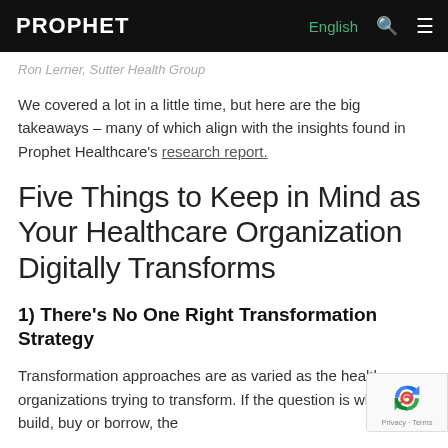PROPHET | English
Ron Lerner, Sutter Health Group
We covered a lot in a little time, but here are the big takeaways – many of which align with the insights found in Prophet Healthcare's research report.
Five Things to Keep in Mind as Your Healthcare Organization Digitally Transforms
1) There's No One Right Transformation Strategy
Transformation approaches are as varied as the healthcare organizations trying to transform. If the question is whether to build, buy or borrow, the